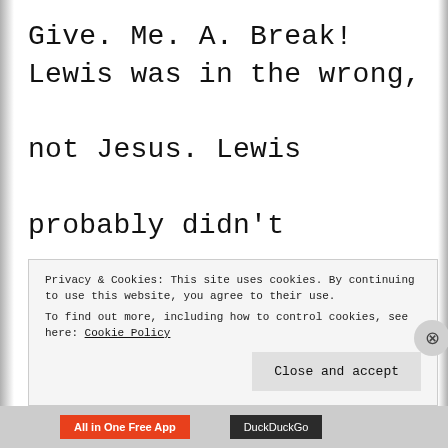Give. Me. A. Break! Lewis was in the wrong, not Jesus. Lewis probably didn't understand prophesy when he called this verse
Privacy & Cookies: This site uses cookies. By continuing to use this website, you agree to their use.
To find out more, including how to control cookies, see here: Cookie Policy
Close and accept
All in One Free App   DuckDuckGo